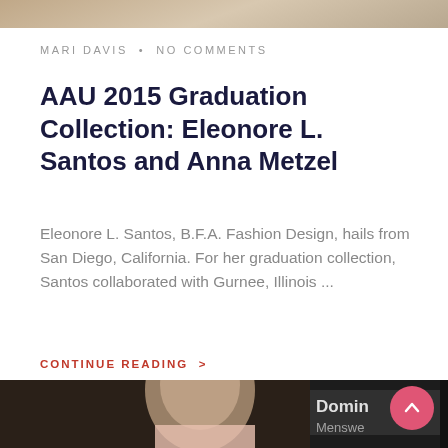[Figure (photo): Top partial photo strip, appears to be a fashion-related image, cropped at top of page]
MARI DAVIS • NO COMMENTS
AAU 2015 Graduation Collection: Eleonore L. Santos and Anna Metzel
Eleonore L. Santos, B.F.A. Fashion Design, hails from San Diego, California. For her graduation collection, Santos collaborated with Gurnee, Illinois ...
CONTINUE READING >
[Figure (photo): Bottom photo showing a male model on a runway with 'Domingo Menswear' signage visible in the background. A pink/red circular scroll-to-top button overlays the bottom right.]